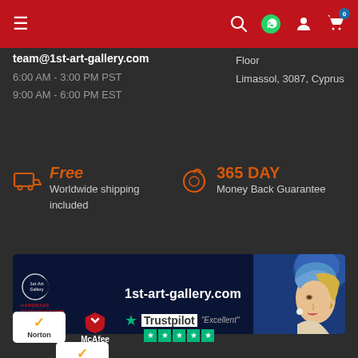Navigation bar with hamburger menu, search, WhatsApp, account, and cart icons
team@1st-art-gallery.com
6:00 AM - 3:00 PM PST
9:00 AM - 6:00 PM EST
Floor
Limassol, 3087, Cyprus
Free
Worldwide shipping included
365 DAY
Money Back Guarantee
[Figure (screenshot): 1st Art Gallery banner with logo showing crescent moon style branding, URL 1st-art-gallery.com, and a reproduction of Girl with a Pearl Earring painting on the right]
[Figure (logo): Norton security badge with checkmark and Norton text]
[Figure (logo): McAfee security badge with shield icon and McAfee text]
[Figure (logo): Trustpilot logo with green star, Trustpilot text, Excellent rating and 5 green stars]